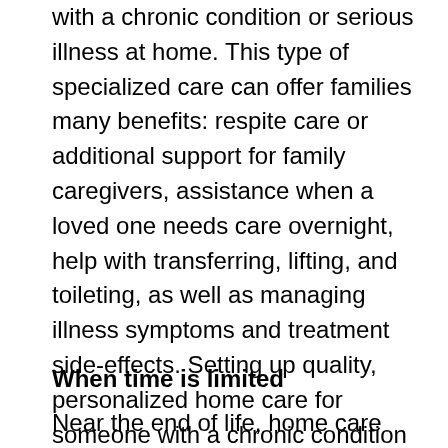with a chronic condition or serious illness at home. This type of specialized care can offer families many benefits: respite care or additional support for family caregivers, assistance when a loved one needs care overnight, help with transferring, lifting, and toileting, as well as managing illness symptoms and treatment side-effects. Setting up quality, personalized home care for someone with a chronic condition or illness can enable that person to continue to live at home with greater safety and comfort.
When time is limited
Near the end of life, home care